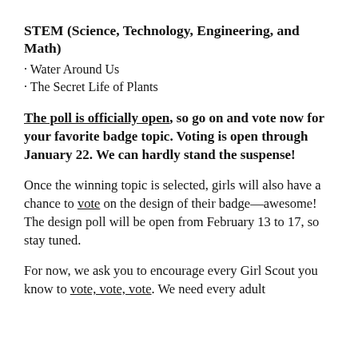STEM (Science, Technology, Engineering, and Math)
· Water Around Us
· The Secret Life of Plants
The poll is officially open, so go on and vote now for your favorite badge topic. Voting is open through January 22. We can hardly stand the suspense!
Once the winning topic is selected, girls will also have a chance to vote on the design of their badge—awesome! The design poll will be open from February 13 to 17, so stay tuned.
For now, we ask you to encourage every Girl Scout you know to vote, vote, vote. We need every adult